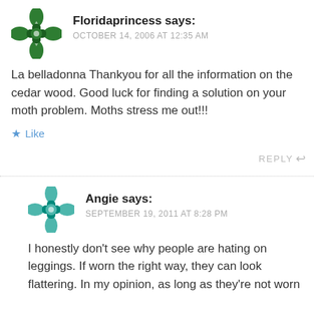[Figure (illustration): Green decorative avatar icon for user Floridaprincess]
Floridaprincess says:
OCTOBER 14, 2006 AT 12:35 AM
La belladonna Thankyou for all the information on the cedar wood. Good luck for finding a solution on your moth problem. Moths stress me out!!!
★ Like
REPLY ↩
[Figure (illustration): Teal/mint decorative avatar icon for user Angie]
Angie says:
SEPTEMBER 19, 2011 AT 8:28 PM
I honestly don't see why people are hating on leggings. If worn the right way, they can look flattering. In my opinion, as long as they're not worn